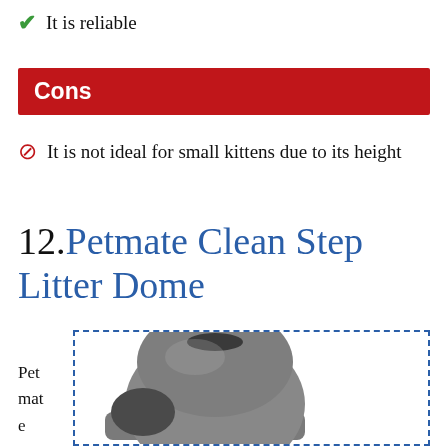✔ It is reliable
Cons
⊘ It is not ideal for small kittens due to its height
12. Petmate Clean Step Litter Dome
[Figure (photo): Photo of a grey Petmate Clean Step Litter Dome cat litter box with a dome shape and front opening, shown inside a dashed blue border box. Text 'Petmate cle' visible on the left side.]